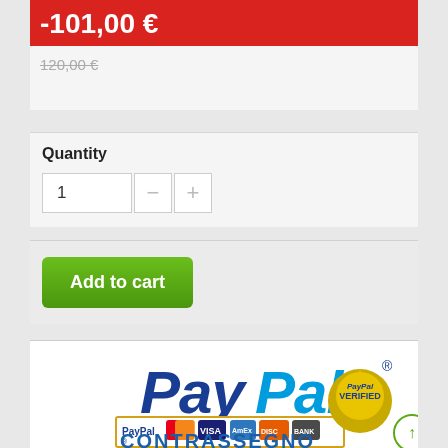-101,00 €
120,00 €
Quantity
1
Add to cart
[Figure (logo): PayPal logo with PayPal Verified seal and payment method icons (MasterCard, Visa, AmEx, Discover, Bank)]
CONTRASSEGNO